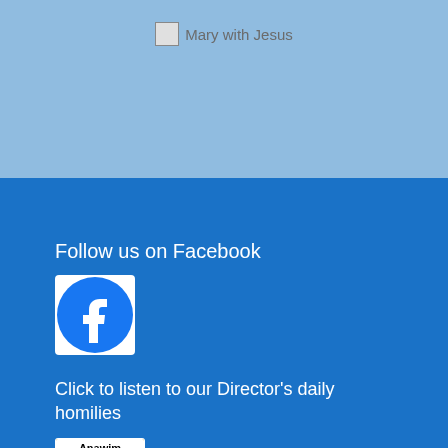[Figure (photo): Broken image placeholder with alt text 'Mary with Jesus' on a light blue background]
Follow us on Facebook
[Figure (logo): Facebook logo icon - circular blue icon with white 'f' letter]
Click to listen to our Director's daily homilies
[Figure (logo): Anawim Homilies logo - square icon with yellow/gold background, cross and figures, text 'Anawim Homilies']